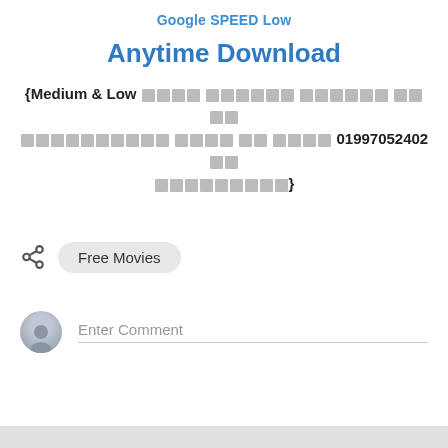Google SPEED Low
Anytime Download
{Medium & Low [blocked text] 01997052402 [blocked text]}
Free Movies
Enter Comment